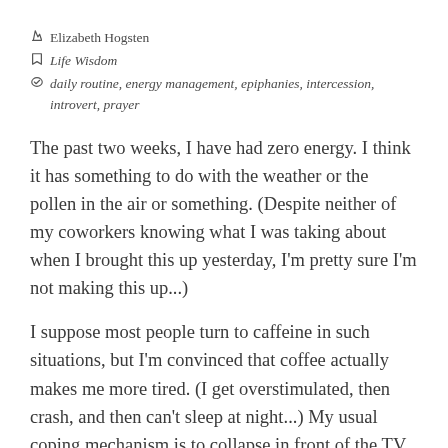Elizabeth Hogsten
Life Wisdom
daily routine, energy management, epiphanies, intercession, introvert, prayer
The past two weeks, I have had zero energy. I think it has something to do with the weather or the pollen in the air or something. (Despite neither of my coworkers knowing what I was taking about when I brought this up yesterday, I'm pretty sure I'm not making this up...)
I suppose most people turn to caffeine in such situations, but I'm convinced that coffee actually makes me more tired. (I get overstimulated, then crash, and then can't sleep at night...) My usual coping mechanism is to collapse in front of the TV every opportunity I get. But the past couple weeks, I've been learning some new strategies.
Here are some of them: